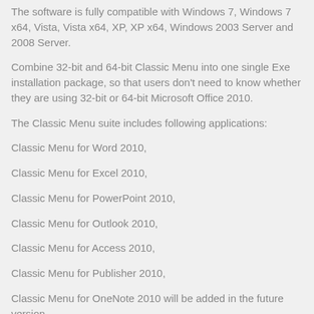The software is fully compatible with Windows 7, Windows 7 x64, Vista, Vista x64, XP, XP x64, Windows 2003 Server and 2008 Server.
Combine 32-bit and 64-bit Classic Menu into one single Exe installation package, so that users don't need to know whether they are using 32-bit or 64-bit Microsoft Office 2010.
The Classic Menu suite includes following applications:
Classic Menu for Word 2010,
Classic Menu for Excel 2010,
Classic Menu for PowerPoint 2010,
Classic Menu for Outlook 2010,
Classic Menu for Access 2010,
Classic Menu for Publisher 2010,
Classic Menu for OneNote 2010 will be added in the future version.